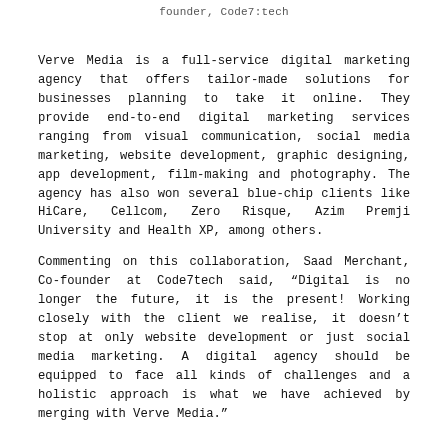founder, Code7:tech
Verve Media is a full-service digital marketing agency that offers tailor-made solutions for businesses planning to take it online. They provide end-to-end digital marketing services ranging from visual communication, social media marketing, website development, graphic designing, app development, film-making and photography. The agency has also won several blue-chip clients like HiCare, Cellcom, Zero Risque, Azim Premji University and Health XP, among others.
Commenting on this collaboration, Saad Merchant, Co-founder at Code7tech said, “Digital is no longer the future, it is the present! Working closely with the client we realise, it doesn’t stop at only website development or just social media marketing. A digital agency should be equipped to face all kinds of challenges and a holistic approach is what we have achieved by merging with Verve Media.”